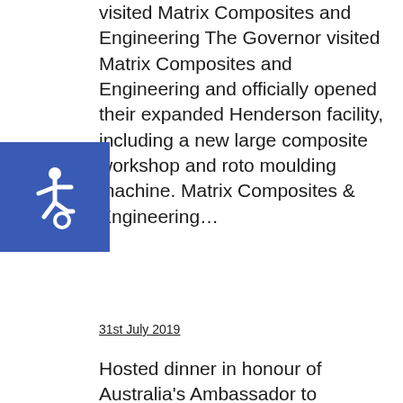visited Matrix Composites and Engineering The Governor visited Matrix Composites and Engineering and officially opened their expanded Henderson facility, including a new large composite workshop and roto moulding machine. Matrix Composites & Engineering...
[Figure (illustration): Accessibility icon: white wheelchair symbol on blue square background]
31st July 2019
Hosted dinner in honour of Australia's Ambassador to Indonesia The Governor and Ms Annus hosted dinner for Mr Gary Quinlan AO, Australia's Ambassador to Indonesia, accompanied by Ms Elizabeth Ward, Australia's Chief Negotiator. Click on the image to save or...